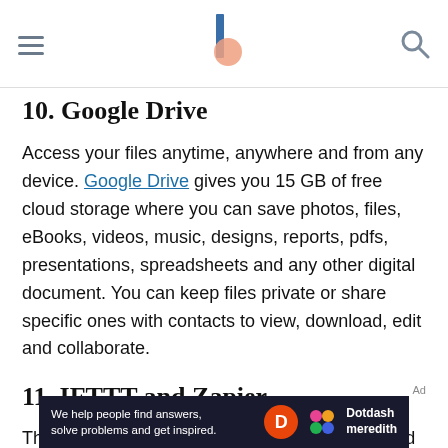[Navigation header with hamburger menu, site logo, and search icon]
10. Google Drive
Access your files anytime, anywhere and from any device. Google Drive gives you 15 GB of free cloud storage where you can save photos, files, eBooks, videos, music, designs, reports, pdfs, presentations, spreadsheets and any other digital document. You can keep files private or share specific ones with contacts to view, download, edit and collaborate.
11. IFTTT and Zapier
Think of these two productivity tools as command
[Figure (other): Dotdash Meredith advertisement banner: 'We help people find answers, solve problems and get inspired.' with Dotdash Meredith logo]